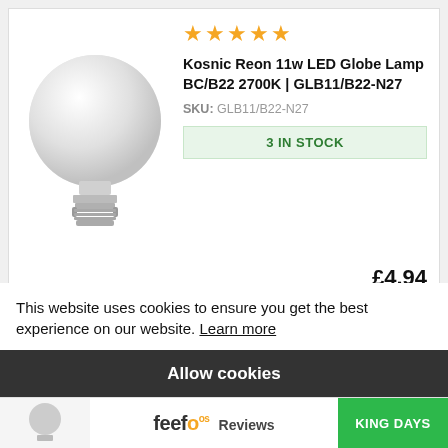[Figure (photo): White LED globe lamp bulb with bayonet cap (BC/B22) fitting]
★★★★★
Kosnic Reon 11w LED Globe Lamp BC/B22 2700K | GLB11/B22-N27
SKU: GLB11/B22-N27
3 IN STOCK
£4.94
INCL. TAX £5.93
This website uses cookies to ensure you get the best experience on our website. Learn more
Allow cookies
feefo Reviews
KING DAYS